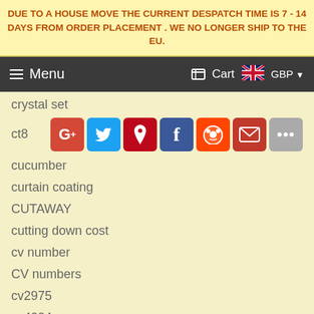DUE TO A HOUSE MOVE THE CURRENT DESPATCH TIME IS 7 - 14 DAYS FROM ORDER PLACEMENT . WE NO LONGER SHIP TO THE EU.
Menu  Cart  GBP
crystal set
ct8
cucumber
curtain coating
CUTAWAY
cutting down cost
cv number
CV numbers
cv2975
cv4004
cv6091